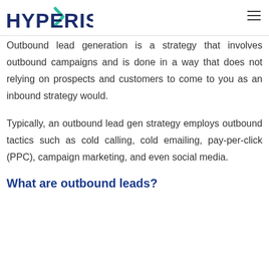HYPERISE
Outbound lead generation is a strategy that involves outbound campaigns and is done in a way that does not relying on prospects and customers to come to you as an inbound strategy would.
Typically, an outbound lead gen strategy employs outbound tactics such as cold calling, cold emailing, pay-per-click (PPC), campaign marketing, and even social media.
What are outbound leads?